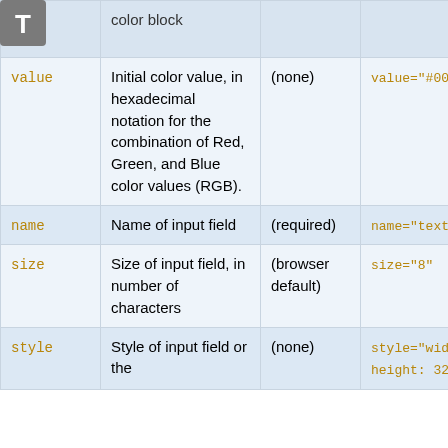| Attribute | Description | Default | Example |
| --- | --- | --- | --- |
|  | color block |  |  |
| value | Initial color value, in hexadecimal notation for the combination of Red, Green, and Blue color values (RGB). | (none) | value="#0000ff" |
| name | Name of input field | (required) | name="text_color |
| size | Size of input field, in number of characters | (browser default) | size="8" |
| style | Style of input field or the | (none) | style="width: 19 height: 32px" |